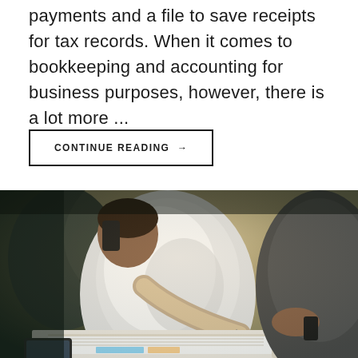payments and a file to save receipts for tax records. When it comes to bookkeeping and accounting for business purposes, however, there is a lot more ...
CONTINUE READING →
[Figure (photo): Two business people working together at a desk. One person in a white shirt is leaning forward writing in a notebook while talking on the phone, and another person in a dark shirt is visible on the right side, holding papers and a pen.]